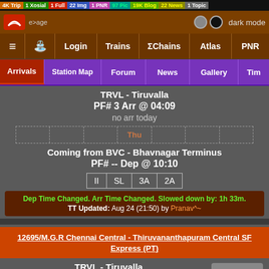4K Trip 1 Xosial 1 Full 22 Img 1 PNR 97 Pic 19K Blog 22 News 1 Topic
Logo bar - dark mode
≡ 🔍 Login Trains ΣChains Atlas PNR
Arrivals Station Map Forum News Gallery Tim
TRVL - Tiruvalla
PF# 3 Arr @ 04:09
no arr today
Thu
Coming from BVC - Bhavnagar Terminus
PF# -- Dep @ 10:10
II SL 3A 2A
Dep Time Changed. Arr Time Changed. Slowed down by: 1h 33m. TT Updated: Aug 24 (21:50) by Pranav^~
12695/M.G.R Chennai Central - Thiruvananthapuram Central SF Express (PT)
TRVL - Tiruvalla
PF# -- Arr @ 04:34
Scroll to Bottom